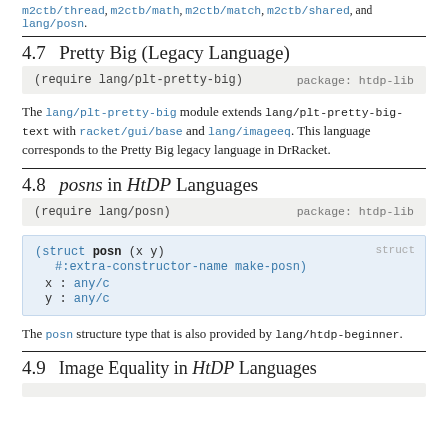m2ctb/thread, m2ctb/math, m2ctb/match, m2ctb/shared, and lang/posn.
4.7  Pretty Big (Legacy Language)
(require lang/plt-pretty-big)   package: htdp-lib
The lang/plt-pretty-big module extends lang/plt-pretty-big-text with racket/gui/base and lang/imageeq. This language corresponds to the Pretty Big legacy language in DrRacket.
4.8  posns in HtDP Languages
(require lang/posn)   package: htdp-lib
(struct posn (x y) #:extra-constructor-name make-posn)  x : any/c  y : any/c  struct
The posn structure type that is also provided by lang/htdp-beginner.
4.9  Image Equality in HtDP Languages